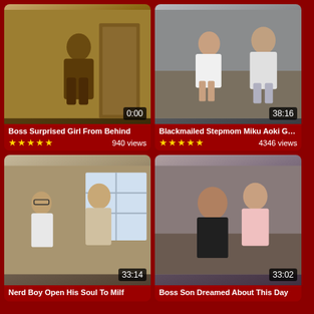[Figure (screenshot): Video thumbnail 1 - Boss Surprised Girl From Behind, duration 0:00]
Boss Surprised Girl From Behind
★★★★★  940 views
[Figure (screenshot): Video thumbnail 2 - Blackmailed Stepmom Miku Aoki Gets, duration 38:16]
Blackmailed Stepmom Miku Aoki Gets
★★★★★  4346 views
[Figure (screenshot): Video thumbnail 3 - Nerd Boy Open His Soul To Milf, duration 33:14]
Nerd Boy Open His Soul To Milf
[Figure (screenshot): Video thumbnail 4 - Boss Son Dreamed About This Day, duration 33:02]
Boss Son Dreamed About This Day